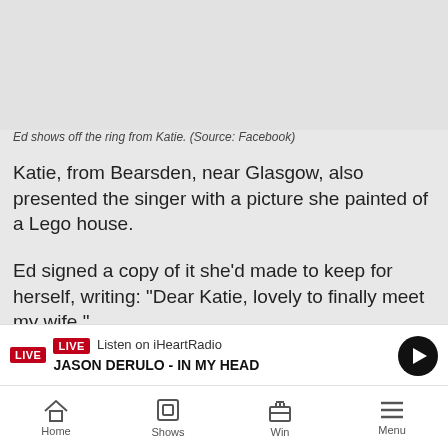[Figure (photo): Light gray placeholder area for an image of Ed showing off the ring from Katie]
Ed shows off the ring from Katie. (Source: Facebook)
Katie, from Bearsden, near Glasgow, also presented the singer with a picture she painted of a Lego house.
Ed signed a copy of it she'd made to keep for herself, writing: "Dear Katie, lovely to finally meet my wife."
[Figure (photo): Gray placeholder image block]
LIVE Listen on iHeartRadio JASON DERULO - IN MY HEAD
Home  Shows  Win  Menu